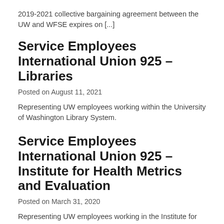2019-2021 collective bargaining agreement between the UW and WFSE expires on [...]
Service Employees International Union 925 – Libraries
Posted on August 11, 2021
Representing UW employees working within the University of Washington Library System.
Service Employees International Union 925 – Institute for Health Metrics and Evaluation
Posted on March 31, 2020
Representing UW employees working in the Institute for Health Metrics and Evaluation.